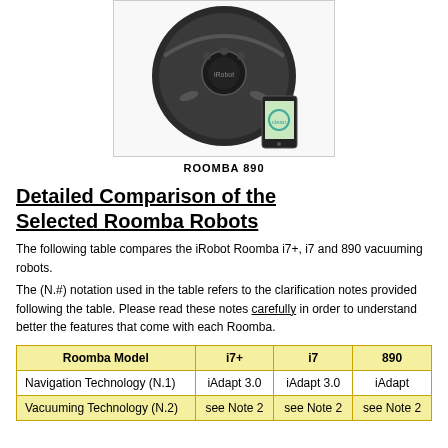[Figure (photo): iRobot Roomba 890 robot vacuum with smartphone app, shown in product box image]
ROOMBA 890
Detailed Comparison of the Selected Roomba Robots
The following table compares the iRobot Roomba i7+, i7 and 890 vacuuming robots.
The (N.#) notation used in the table refers to the clarification notes provided following the table. Please read these notes carefully in order to understand better the features that come with each Roomba.
| Roomba Model | i7+ | i7 | 890 |
| --- | --- | --- | --- |
| Navigation Technology (N.1) | iAdapt 3.0 | iAdapt 3.0 | iAdapt |
| Vacuuming Technology (N.2) | see Note 2 | see Note 2 | see Note 2 |